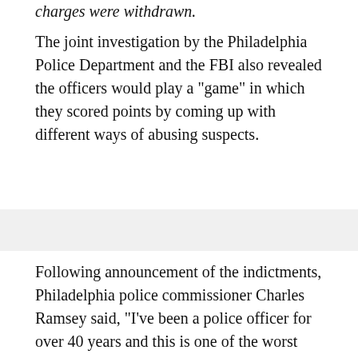charges were withdrawn.
The joint investigation by the Philadelphia Police Department and the FBI also revealed the officers would play a "game" in which they scored points by coming up with different ways of abusing suspects.
Following announcement of the indictments, Philadelphia police commissioner Charles Ramsey said, "I've been a police officer for over 40 years and this is one of the worst cases of corruption I've ever heard."
The accused are also said to have robbed drug dealers, taking items including cash and expensive watches.